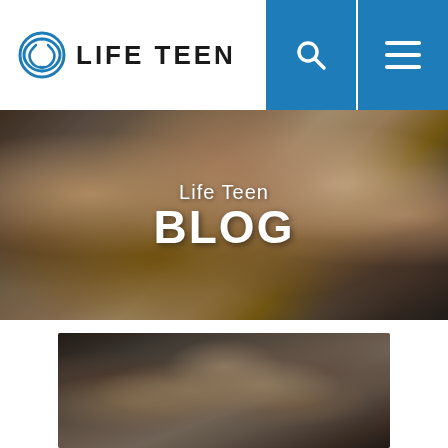LIFE TEEN
[Figure (photo): Group of smiling teenagers and young adults posing together for a photo, with text overlay reading 'Life Teen BLOG']
Life Teen BLOG
[Figure (photo): Close-up of two hands clasped together in a handshake or supportive grip, set on a wooden surface with blurred background]